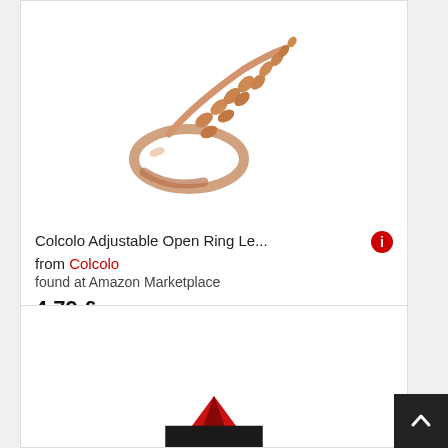[Figure (photo): Rose gold adjustable open ring with leaf/olive branch design, shown against white background]
Colcolo Adjustable Open Ring Le... from Colcolo found at Amazon Marketplace 4.79 £ Shipping costs: 0.00 £
[Figure (photo): Second product image partially visible, appears to be a red and black item]